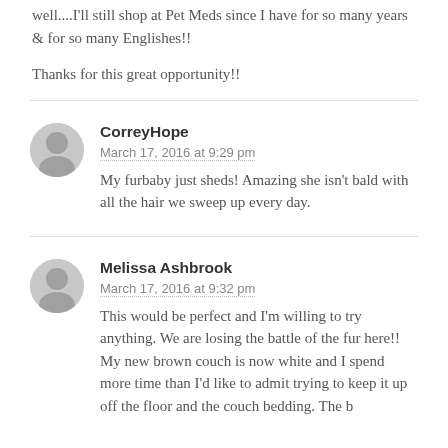well....I'll still shop at Pet Meds since I have for so many years & for so many Englishes!!
Thanks for this great opportunity!!
CorreyHope
March 17, 2016 at 9:29 pm
My furbaby just sheds! Amazing she isn't bald with all the hair we sweep up every day.
Melissa Ashbrook
March 17, 2016 at 9:32 pm
This would be perfect and I'm willing to try anything. We are losing the battle of the fur here!! My new brown couch is now white and I spend more time than I'd like to admit trying to keep it up off the floor and the couch bedding. The b